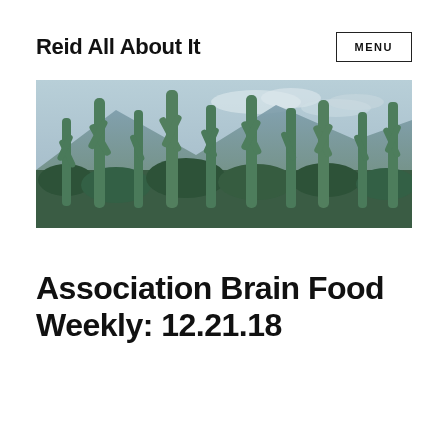Reid All About It
MENU
[Figure (photo): Wide panoramic photo of tall saguaro cacti in a desert landscape with mountains and blue-grey sky in the background.]
Association Brain Food Weekly: 12.21.18